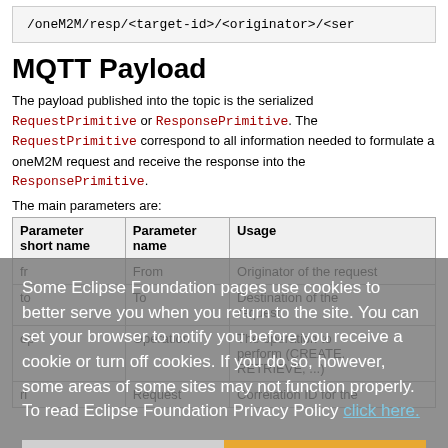/oneM2M/resp/<target-id>/<originator>/<ser
MQTT Payload
The payload published into the topic is the serialized RequestPrimitive or ResponsePrimitive. The RequestPrimitive correspond to all information needed to formulate a oneM2M request and receive the response into the ResponsePrimitive.
The main parameters are:
| Parameter short name | Parameter name | Usage |
| --- | --- | --- |
| fr | From | Originator of the request |
| to | To | Destination of the request |
| op | Operation | The operation to perform (CREATE, RETRIEVE, ...) |
| ri | Request | Correlation ID for the |